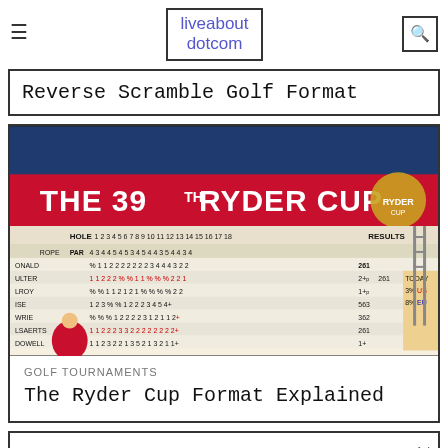liveaboutdotcom
Reverse Scramble Golf Format
[Figure (photo): Scoreboard from The 39th Ryder Cup showing hole-by-hole scores for European players including Donald, Poulter, McIlroy, Rose, McIlroy, Hanson, Garcia, and others]
GOLF TOURNAMENTS
The Ryder Cup Format Explained
Tiger Woods hits a drive
Ad
We help people find answers, solve problems and get inspired.
Dotdash meredith